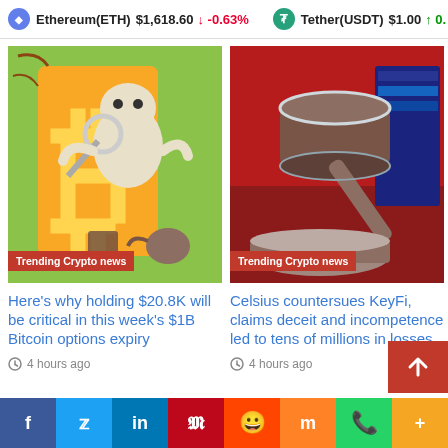Ethereum(ETH) $1,618.60 ↓ -0.63%   Tether(USDT) $1.00 ↑ 0.01%
[Figure (illustration): Illustrated cartoon of a robot-like figure inspecting a Bitcoin symbol with a magnifying glass, colorful cartoon style. Badge reads: Trending Crypto news]
[Figure (illustration): Photo of a wooden judge's gavel next to law books on a red surface. Badge reads: Trending Crypto news]
Here's why holding $20.8K will be critical in this week's $1B Bitcoin options expiry
4 hours ago
Celsius countersues KeyFi, claims deceit and incompetence led to tens of millions in losses
4 hours ago
[Figure (photo): Partial bottom image strip, yellow background visible]
f  Twitter  in  Pinterest  Reddit  Mix  WhatsApp  More